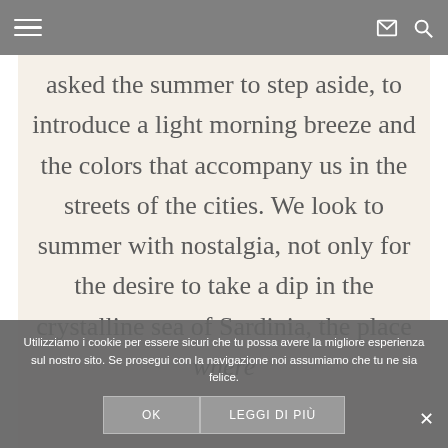Navigation bar with menu, mail, and search icons
asked the summer to step aside, to introduce a light morning breeze and the colors that accompany us in the streets of the cities. We look to summer with nostalgia, not only for the desire to take a dip in the crystalline sea of Sardinia, the place where
Utilizziamo i cookie per essere sicuri che tu possa avere la migliore esperienza sul nostro sito. Se prosegui con la navigazione noi assumiamo che tu ne sia felice.
OK    LEGGI DI PIÙ